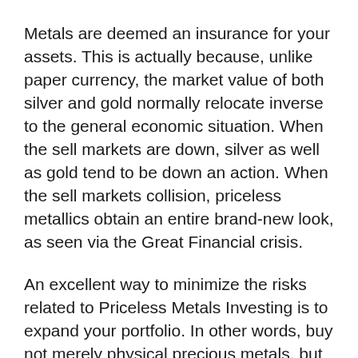Metals are deemed an insurance for your assets. This is actually because, unlike paper currency, the market value of both silver and gold normally relocate inverse to the general economic situation. When the sell markets are down, silver as well as gold tend to be down an action. When the sell markets collision, priceless metallics obtain an entire brand-new look, as seen via the Great Financial crisis.
An excellent way to minimize the risks related to Priceless Metals Investing is to expand your portfolio. In other words, buy not merely physical precious metals, but likewise in different other possession courses such as bonds, cells, interest-bearing funds,